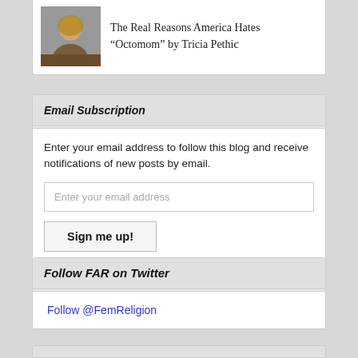[Figure (photo): Small thumbnail photo of a person (woman) in a blog post link card]
The Real Reasons America Hates “Octomom” by Tricia Pethic
Email Subscription
Enter your email address to follow this blog and receive notifications of new posts by email.
Enter your email address
Sign me up!
Join 37,312 other followers
Follow FAR on Twitter
Follow @FemReligion